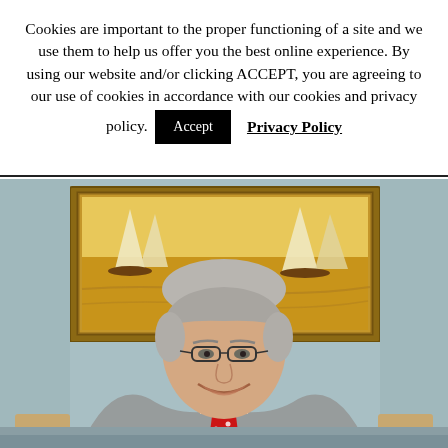Cookies are important to the proper functioning of a site and we use them to help us offer you the best online experience. By using our website and/or clicking ACCEPT, you are agreeing to our use of cookies in accordance with our cookies and privacy policy.
[Figure (photo): Portrait photo of an older man with gray hair, glasses, wearing a gray suit and red tie with white polka dots, smiling. He is seated in front of a framed oil painting of sailboats on water. The background wall is grayish-blue.]